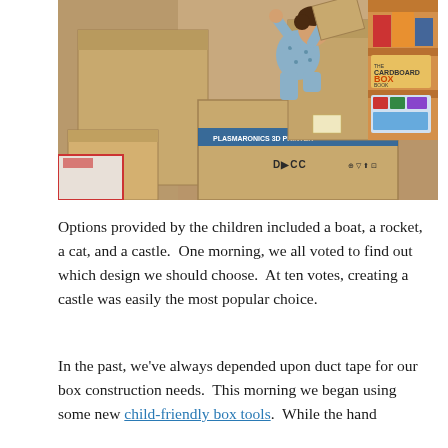[Figure (photo): A young child in patterned pajamas kneeling on top of a large cardboard box (labeled DICC, with blue tape markings), surrounded by multiple large cardboard boxes in what appears to be a classroom or playroom. A bookshelf with books and materials is visible in the background on the right.]
Options provided by the children included a boat, a rocket, a cat, and a castle.  One morning, we all voted to find out which design we should choose.  At ten votes, creating a castle was easily the most popular choice.
In the past, we've always depended upon duct tape for our box construction needs.  This morning we began using some new child-friendly box tools.  While the hand